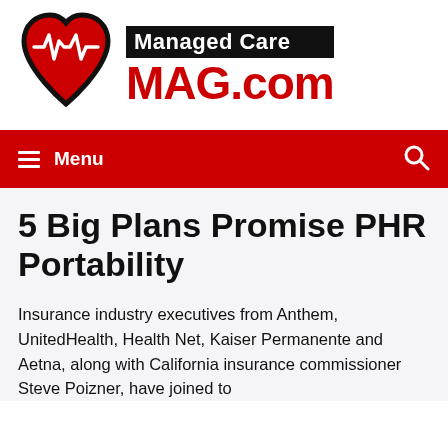[Figure (logo): Managed Care MAG.com logo with a red heart icon containing a white heartbeat/EKG line, beside bold text reading 'Managed Care' on a black bar and 'MAG.com' in large red text]
Menu
5 Big Plans Promise PHR Portability
Insurance industry executives from Anthem, UnitedHealth, Health Net, Kaiser Permanente and Aetna, along with California insurance commissioner Steve Poizner, have joined to